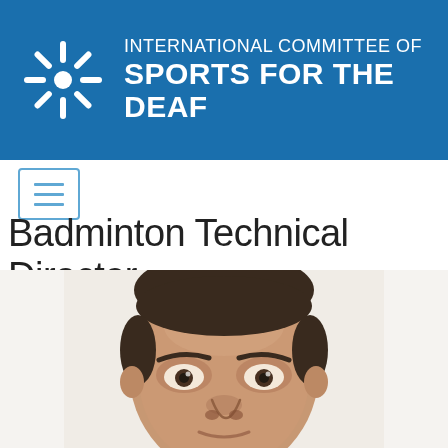INTERNATIONAL COMMITTEE OF SPORTS FOR THE DEAF
Badminton Technical Director
[Figure (photo): Close-up portrait photo of a middle-aged man with short dark hair and a slight tan complexion, slightly blurred, on a light/white background.]